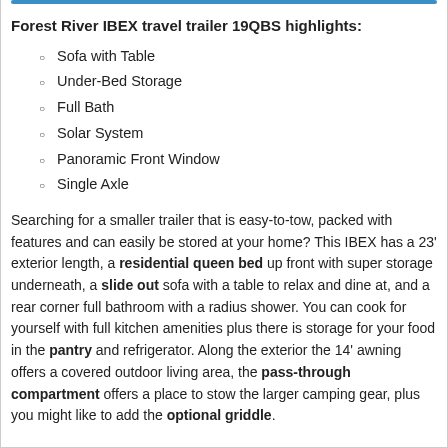Forest River IBEX travel trailer 19QBS highlights:
Sofa with Table
Under-Bed Storage
Full Bath
Solar System
Panoramic Front Window
Single Axle
Searching for a smaller trailer that is easy-to-tow, packed with features and can easily be stored at your home? This IBEX has a 23' exterior length, a residential queen bed up front with super storage underneath, a slide out sofa with a table to relax and dine at, and a rear corner full bathroom with a radius shower. You can cook for yourself with full kitchen amenities plus there is storage for your food in the pantry and refrigerator. Along the exterior the 14' awning offers a covered outdoor living area, the pass-through compartment offers a place to stow the larger camping gear, plus you might like to add the optional griddle.